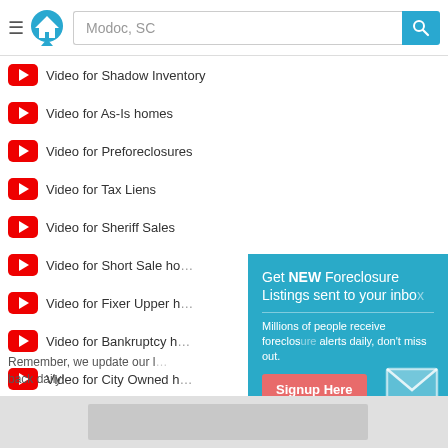[Figure (screenshot): Website header with hamburger menu, house logo, search box showing 'Modoc, SC', and teal search button with magnifying glass icon]
Video for Shadow Inventory
Video for As-Is homes
Video for Preforeclosures
Video for Tax Liens
Video for Sheriff Sales
Video for Short Sale ho[mes]
Video for Fixer Upper h[omes]
Video for Bankruptcy h[omes]
Video for City Owned h[omes]
Video for Rent to Own
Remember, we update our [listings] back daily!
[Figure (screenshot): Popup overlay on teal background: 'Get NEW Foreclosure Listings sent to your inbox'. Subtext: 'Millions of people receive foreclosure alerts daily, don't miss out.' Signup Here button, mail envelope icon, No Thanks | Remind Me Later links.]